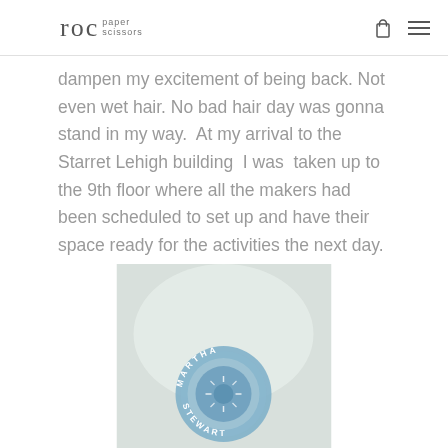roc paper scissors
dampen my excitement of being back. Not even wet hair. No bad hair day was gonna stand in my way.  At my arrival to the Starret Lehigh building  I was  taken up to the 9th floor where all the makers had been scheduled to set up and have their space ready for the activities the next day.
[Figure (photo): A circular Martha Stewart logo/seal in blue-gray tones on a light background, showing 'MARTHA STEWART' text around the circle perimeter]